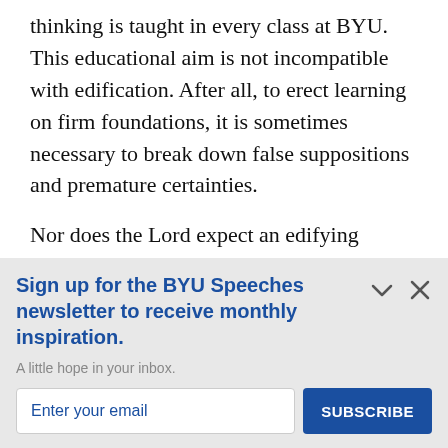thinking is taught in every class at BYU. This educational aim is not incompatible with edification. After all, to erect learning on firm foundations, it is sometimes necessary to break down false suppositions and premature certainties.
Nor does the Lord expect an edifying
Sign up for the BYU Speeches newsletter to receive monthly inspiration.
A little hope in your inbox.
Enter your email
SUBSCRIBE